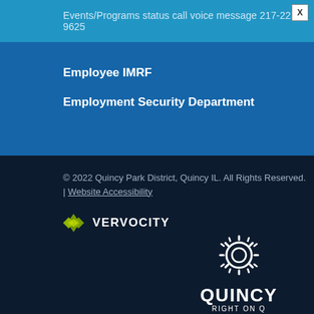Events/Programs status call voice message 217-223-9625
Employee IMRF
Employment Security Department
© 2022 Quincy Park District, Quincy IL. All Rights Reserved. | Website Accessibility
[Figure (logo): Vervocity logo with diamond icon and bold text VERVOCITY]
[Figure (logo): Quincy Park District logo: gear/wheel icon above text QUINCY RIGHT ON Q]